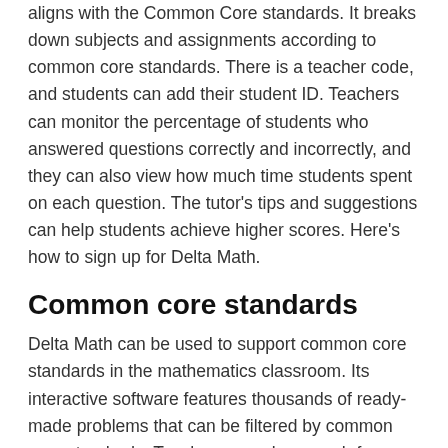aligns with the Common Core standards. It breaks down subjects and assignments according to common core standards. There is a teacher code, and students can add their student ID. Teachers can monitor the percentage of students who answered questions correctly and incorrectly, and they can also view how much time students spent on each question. The tutor's tips and suggestions can help students achieve higher scores. Here's how to sign up for Delta Math.
Common core standards
Delta Math can be used to support common core standards in the mathematics classroom. Its interactive software features thousands of ready-made problems that can be filtered by common core standards. Teachers can also search for specific problems by keyword or topic to provide detailed guidance for their students. Delta Math has a number of interactive features, such as cues that help students learn how to answer problems and hints that help them work out how to complete them.